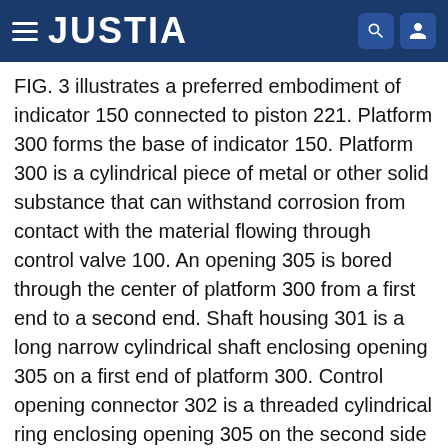JUSTIA
FIG. 3 illustrates a preferred embodiment of indicator 150 connected to piston 221. Platform 300 forms the base of indicator 150. Platform 300 is a cylindrical piece of metal or other solid substance that can withstand corrosion from contact with the material flowing through control valve 100. An opening 305 is bored through the center of platform 300 from a first end to a second end. Shaft housing 301 is a long narrow cylindrical shaft enclosing opening 305 on a first end of platform 300. Control opening connector 302 is a threaded cylindrical ring enclosing opening 305 on the second side of platform 300. Control opening connector threads into control opening 109 of piston assembly housing cover 106 to connect indicator 150 to housing 110. Control inlet 304 is an opening in the side of platform 300 to connect a control line to indicator 150 to apply a material flow to piston 221 through indicator